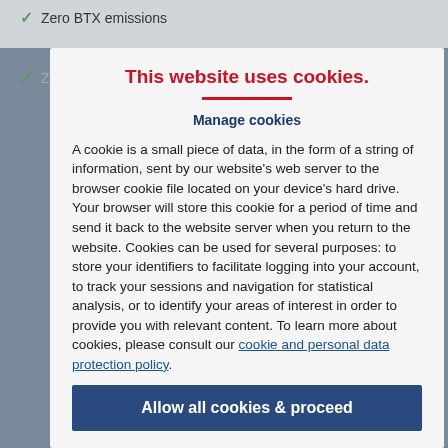✓ Zero BTX emissions
This website uses cookies.
Manage cookies
A cookie is a small piece of data, in the form of a string of information, sent by our website's web server to the browser cookie file located on your device's hard drive. Your browser will store this cookie for a period of time and send it back to the website server when you return to the website. Cookies can be used for several purposes: to store your identifiers to facilitate logging into your account, to track your sessions and navigation for statistical analysis, or to identify your areas of interest in order to provide you with relevant content. To learn more about cookies, please consult our cookie and personal data protection policy.
Allow all cookies & proceed